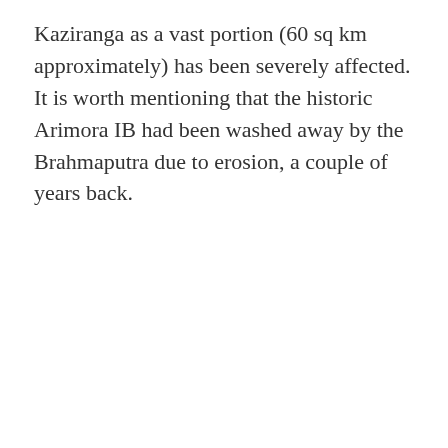Kaziranga as a vast portion (60 sq km approximately) has been severely affected. It is worth mentioning that the historic Arimora IB had been washed away by the Brahmaputra due to erosion, a couple of years back.